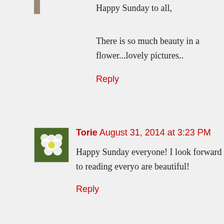Happy Sunday to all,
There is so much beauty in a flower...lovely pictures..
Reply
Torie  August 31, 2014 at 3:23 PM
Happy Sunday everyone! I look forward to reading everyone's posts. The photos are beautiful!
Reply
Stormcat Poetry  August 31, 2014 at 4:11 PM
Hi everyone! Lovely flowers. Haven't linked for a while - following a murder trial and that is very time consuming. I hope to have more time to visit everyone's links this time.
Reply